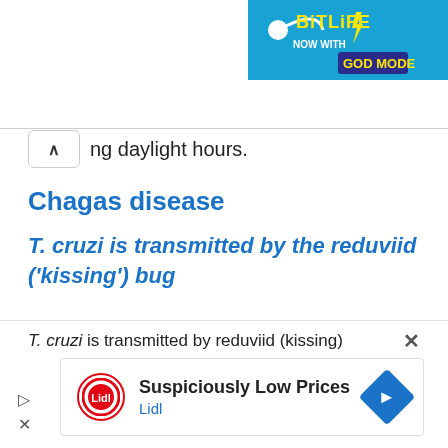[Figure (screenshot): BitLife 'NOW WITH GOD MODE' advertisement banner in top right corner with blue and yellow colors]
ng daylight hours.
Chagas disease
T. cruzi is transmitted by the reduviid ('kissing') bug
T. cruzi is transmitted by reduviid (kissing)
[Figure (screenshot): Lidl advertisement: 'Suspiciously Low Prices' with Lidl logo and navigation arrow icon]